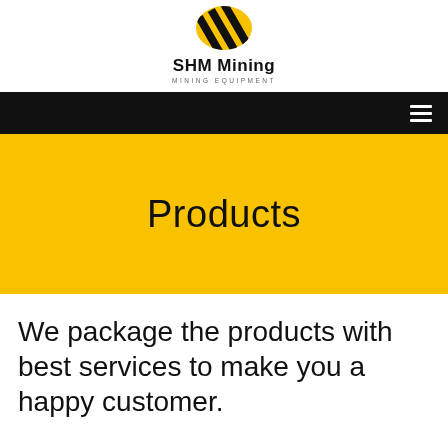[Figure (logo): SHM Mining logo — yellow and black diagonal stripe chevron icon above text 'SHM Mining' and subtitle 'MINING EQUIPMENT']
SHM Mining
MINING EQUIPMENT
Products
We package the products with best services to make you a happy customer.